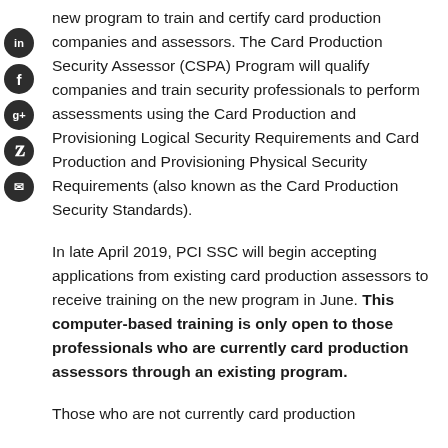new program to train and certify card production companies and assessors. The Card Production Security Assessor (CSPA) Program will qualify companies and train security professionals to perform assessments using the Card Production and Provisioning Logical Security Requirements and Card Production and Provisioning Physical Security Requirements (also known as the Card Production Security Standards).
In late April 2019, PCI SSC will begin accepting applications from existing card production assessors to receive training on the new program in June. This computer-based training is only open to those professionals who are currently card production assessors through an existing program.
Those who are not currently card production